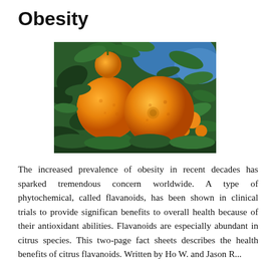Obesity
[Figure (photo): Photograph of orange citrus fruits hanging on a tree with green leaves and blue sky visible in the background.]
The increased prevalence of obesity in recent decades has sparked tremendous concern worldwide. A type of phytochemical, called flavanoids, has been shown in clinical trials to provide significan benefits to overall health because of their antioxidant abilities. Flavanoids are especially abundant in citrus species. This two-page fact sheets describes the health benefits of citrus flavanoids. Written by Ho W. and Jason R...